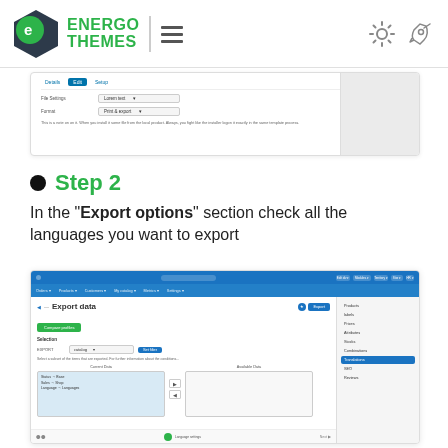[Figure (logo): EnergoThemes logo with green diamond shape containing letter e, green text ENERGO THEMES, hamburger menu icon, gear icon and rocket icon]
[Figure (screenshot): Partial screenshot of a web interface showing form fields with dropdowns for settings and a note text below]
Step 2
In the "Export options" section check all the languages you want to export
[Figure (screenshot): Screenshot of Export data page in a CMS showing Export data form with language selection, source/destination column boxes, and sidebar navigation with Translations highlighted]